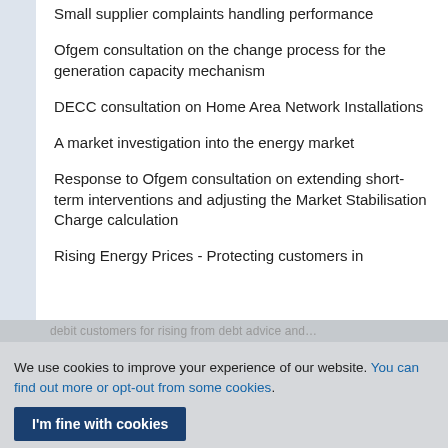Small supplier complaints handling performance
Ofgem consultation on the change process for the generation capacity mechanism
DECC consultation on Home Area Network Installations
A market investigation into the energy market
Response to Ofgem consultation on extending short-term interventions and adjusting the Market Stabilisation Charge calculation
Rising Energy Prices - Protecting customers in
We use cookies to improve your experience of our website. You can find out more or opt-out from some cookies.
I'm fine with cookies